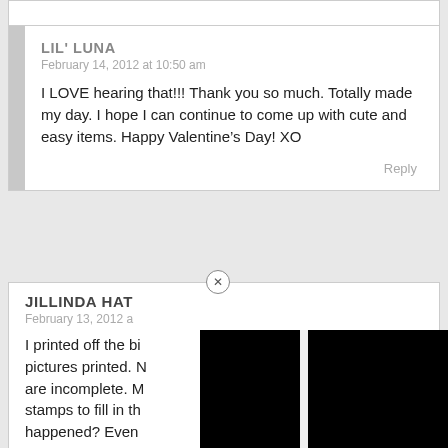LIL' LUNA
February 14, 2012 at 10:50 am
I LOVE hearing that!!! Thank you so much. Totally made my day. I hope I can continue to come up with cute and easy items. Happy Valentine's Day! XO
Reply
JILLINDA HAT...
February 13, 2012 a...
I printed off the bi... pictures printed. N... are incomplete. M... stamps to fill in th... happened? Even... print off.
[Figure (screenshot): Volvo XC40 Recharge Pure Electric advertisement with car image, partially obscured by black panels on left and right]
Reply